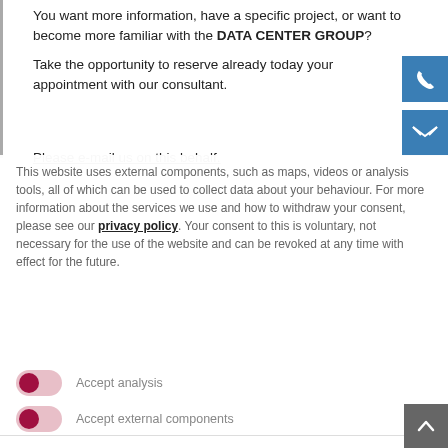You want more information, have a specific project, or want to become more familiar with the DATA CENTER GROUP?
Take the opportunity to reserve already today your appointment with our consultant.
Please e-mail us on this behalf.
This website uses external components, such as maps, videos or analysis tools, all of which can be used to collect data about your behaviour. For more information about the services we use and how to withdraw your consent, please see our privacy policy. Your consent to this is voluntary, not necessary for the use of the website and can be revoked at any time with effect for the future.
Accept analysis
Accept external components
✕ Decline all Cookies
Accept all Cookies